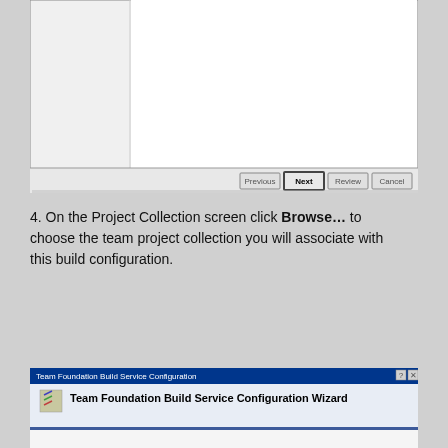[Figure (screenshot): Bottom portion of a Windows wizard dialog showing a blank white panel with navigation buttons: Previous, Next (selected/highlighted), Review, and Cancel at the bottom right.]
4. On the Project Collection screen click Browse... to choose the team project collection you will associate with this build configuration.
[Figure (screenshot): Team Foundation Build Service Configuration wizard dialog. Title bar reads 'Team Foundation Build Service Configuration' with help and close buttons. Below is a header area with an icon and bold text 'Team Foundation Build Service Configuration Wizard'. A blue divider separates the header from a white content area below.]